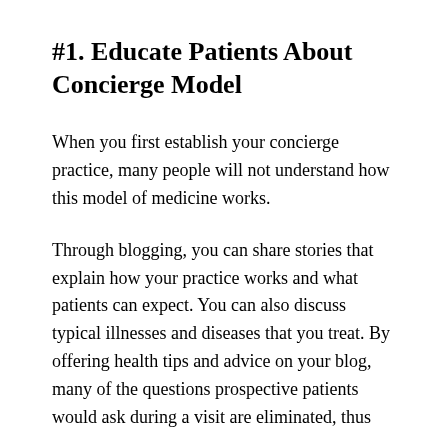#1. Educate Patients About Concierge Model
When you first establish your concierge practice, many people will not understand how this model of medicine works.
Through blogging, you can share stories that explain how your practice works and what patients can expect. You can also discuss typical illnesses and diseases that you treat. By offering health tips and advice on your blog, many of the questions prospective patients would ask during a visit are eliminated, thus